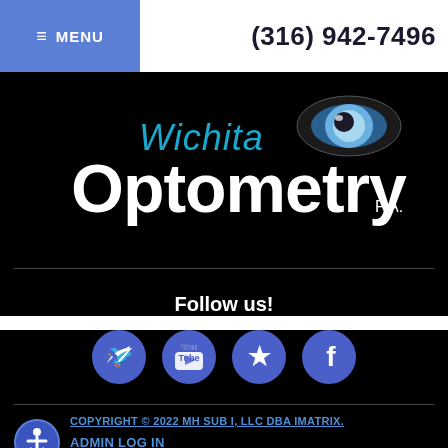≡ MENU   (316) 942-7496
[Figure (logo): Wichita Optometry P.A. logo — white and teal text on black background with a stylized eye graphic]
Follow us!
[Figure (infographic): Four circular blue social media icons: Twitter, YouTube, Yelp, Facebook]
COPYRIGHT © 2022 MH SUB I, LLC DBA IMATRIX.   ADMIN LOG IN